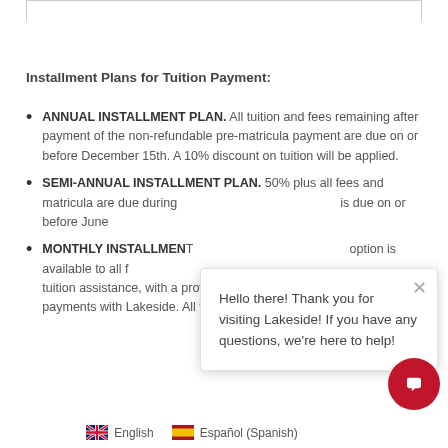Installment Plans for Tuition Payment:
ANNUAL INSTALLMENT PLAN. All tuition and fees remaining after payment of the non-refundable pre-matricula payment are due on or before December 15th. A 10% discount on tuition will be applied.
SEMI-ANNUAL INSTALLMENT PLAN. 50% plus all fees and matricula are due during [partially obscured] is due on or before June [partially obscured]
MONTHLY INSTALLMENT [partially obscured] option is available to all f[amilies seeking] tuition assistance, with a proven history of consistent and on-time payments with Lakeside. All fees and matricula ar[e...]
Hello there! Thank you for visiting Lakeside! If you have any questions, we're here to help!
English   Español (Spanish)